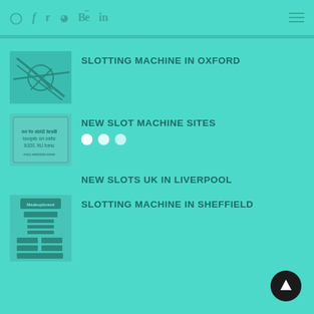Social nav: Pinterest, Facebook, Twitter, Dribbble, Behance, LinkedIn; hamburger menu
SLOTTING MACHINE IN OXFORD
NEW SLOT MACHINE SITES
NEW SLOTS UK IN LIVERPOOL
SLOTTING MACHINE IN SHEFFIELD